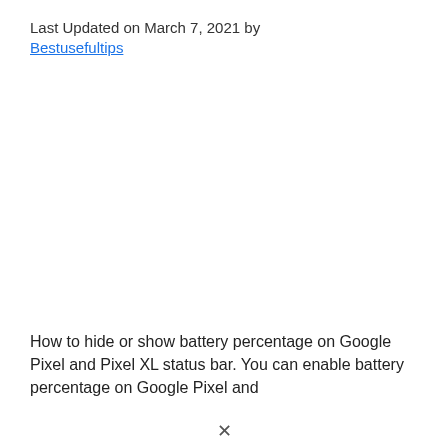Last Updated on March 7, 2021 by Bestusefultips
How to hide or show battery percentage on Google Pixel and Pixel XL status bar. You can enable battery percentage on Google Pixel and